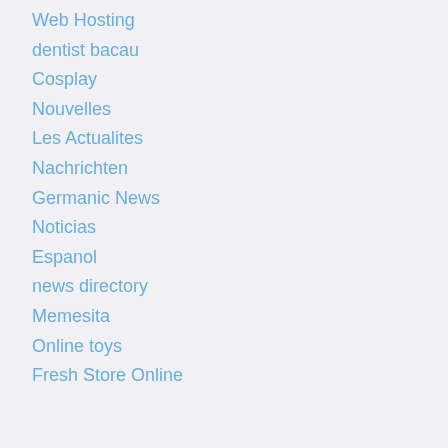Web Hosting
dentist bacau
Cosplay
Nouvelles
Les Actualites
Nachrichten
Germanic News
Noticias
Espanol
news directory
Memesita
Online toys
Fresh Store Online